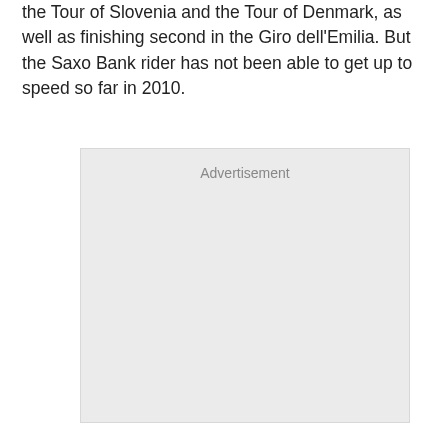the Tour of Slovenia and the Tour of Denmark, as well as finishing second in the Giro dell'Emilia. But the Saxo Bank rider has not been able to get up to speed so far in 2010.
[Figure (other): Advertisement placeholder box with light gray background and 'Advertisement' label at top center]